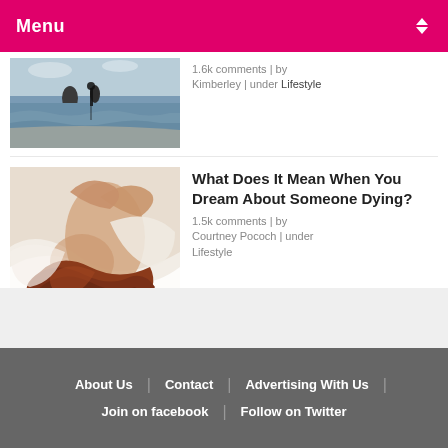Menu
[Figure (photo): Person standing on a reflective beach with ocean waves and rocks]
1.6k comments | by Kimberley | under Lifestyle
[Figure (photo): Woman lying down with red/auburn hair spread out, wearing white]
What Does It Mean When You Dream About Someone Dying?
1.5k comments | by Courtney Pococh | under Lifestyle
About Us | Contact | Advertising With Us | Join on facebook | Follow on Twitter